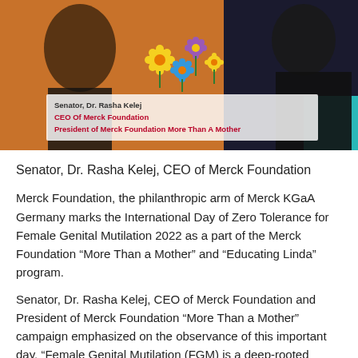[Figure (photo): Photo of Senator Dr. Rasha Kelej on a stage with an orange background and colorful flower decorations. A lower-third caption overlay reads: 'Senator, Dr. Rasha Kelej | CEO Of Merck Foundation | President of Merck Foundation More Than A Mother']
Senator, Dr. Rasha Kelej, CEO of Merck Foundation
Merck Foundation, the philanthropic arm of Merck KGaA Germany marks the International Day of Zero Tolerance for Female Genital Mutilation 2022 as a part of the Merck Foundation “More Than a Mother” and “Educating Linda” program.
Senator, Dr. Rasha Kelej, CEO of Merck Foundation and President of Merck Foundation “More Than a Mother” campaign emphasized on the observance of this important day, “Female Genital Mutilation (FGM) is a deep-rooted social norm for girls and women in many cultures in Africa, Middle East, Asia and in Hofra communities throughout the